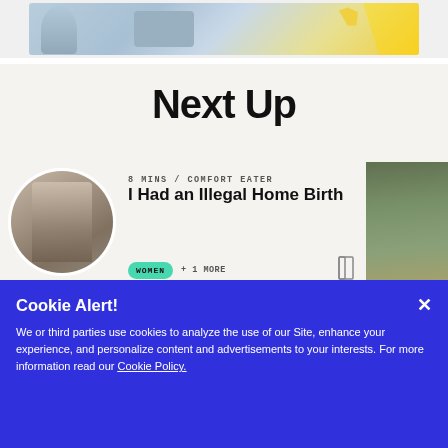[Figure (illustration): Top banner image showing a person with a laptop and geometric/arrow shapes in blue and yellow tones]
Next Up
[Figure (photo): Circular black and white photo of a person bending down]
8 MINS / COMFORT EATER
I Had an Illegal Home Birth
WOMEN + 1 MORE
[Figure (photo): Partial photo of a person wearing a hat, green outdoor background]
Cookie Alert!
We or third parties use cookies to analyze the use of our Site, enhance your experience, and personalize content and advertisements to your interests. For more information read our Cookie Policy.